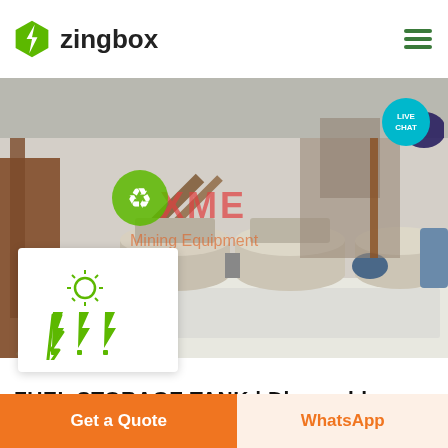[Figure (logo): Zingbox logo: green hexagon shield with lightning bolt, followed by bold text 'zingbox']
[Figure (photo): Outdoor mining equipment yard showing cone crushers and machinery with XME Mining Equipment watermark overlay]
[Figure (illustration): White card with green sun/gear icon above three green lightning bolt / power symbols representing fuel storage]
[Figure (illustration): Live Chat speech bubble icon in teal/cyan color, with dark purple chat bubble, labeled LIVE CHAT]
FUEL STORAGE TANK | Dhanushka
Get a Quote
WhatsApp